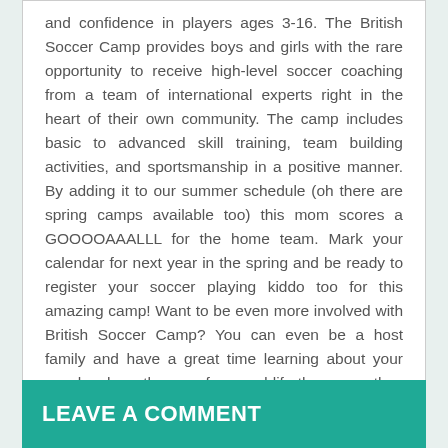and confidence in players ages 3-16. The British Soccer Camp provides boys and girls with the rare opportunity to receive high-level soccer coaching from a team of international experts right in the heart of their own community. The camp includes basic to advanced skill training, team building activities, and sportsmanship in a positive manner. By adding it to our summer schedule (oh there are spring camps available too) this mom scores a GOOOOAAALLL for the home team. Mark your calendar for next year in the spring and be ready to register your soccer playing kiddo too for this amazing camp! Want to be even more involved with British Soccer Camp? You can even be a host family and have a great time learning about your coach, where they are from and life there – as they experience life here in the states.
LEAVE A COMMENT